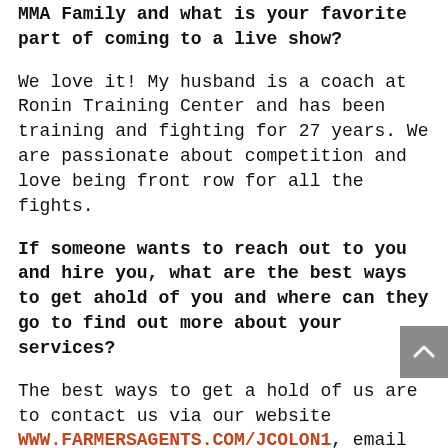MMA Family and what is your favorite part of coming to a live show?
We love it! My husband is a coach at Ronin Training Center and has been training and fighting for 27 years. We are passionate about competition and love being front row for all the fights.
If someone wants to reach out to you and hire you, what are the best ways to get ahold of you and where can they go to find out more about your services?
The best ways to get a hold of us are to contact us via our website WWW.FARMERSAGENTS.COM/JCOLON1, email jcolon1@farmersagent.com, or by calling our office at 614-704-1108. We are there Monday to Friday